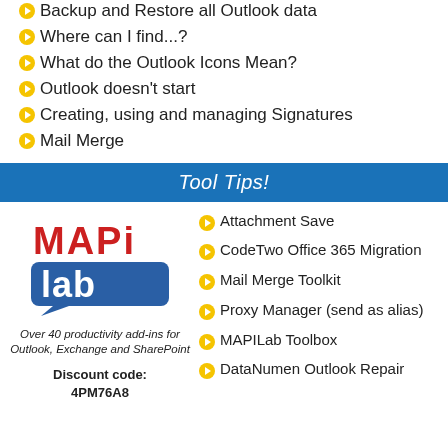Backup and Restore all Outlook data
Where can I find...?
What do the Outlook Icons Mean?
Outlook doesn't start
Creating, using and managing Signatures
Mail Merge
Tool Tips!
[Figure (logo): MAPILab logo - red MAPI text on top, blue lab text in speech bubble below]
Over 40 productivity add-ins for Outlook, Exchange and SharePoint
Discount code: 4PM76A8
Attachment Save
CodeTwo Office 365 Migration
Mail Merge Toolkit
Proxy Manager (send as alias)
MAPILab Toolbox
DataNumen Outlook Repair